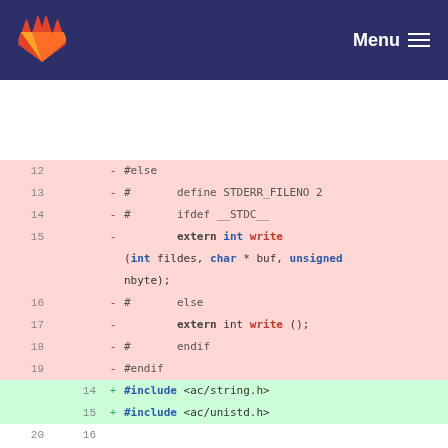GitLab — Menu
[Figure (screenshot): GitLab code diff view showing lines 12-27 of a C source file with deleted lines (pink background) and added lines (green background). Deleted lines include #else, # define STDERR_FILENO 2, # ifdef __STDC__, extern int write (int fildes, char * buf, unsigned nbyte);, # else, extern int write ();, # endif, #endif. Added lines include #include <ac/string.h> and #include <ac/unistd.h>. Unchanged lines show int opterr = 1;, int optind = 1;, int optopt;, char * optarg;, and blank lines. Last visible lines show - #ifdef __STDC__ and - static void ERR (char **]